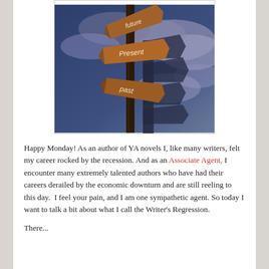[Figure (photo): A directional signpost against a dramatic cloudy sky. Three wooden signs point in different directions labeled 'future', 'Present', and 'past'. The post casts a large cross-shaped shadow.]
Happy Monday! As an author of YA novels I, like many writers, felt my career rocked by the recession. And as an Associate Agent, I encounter many extremely talented authors who have had their careers derailed by the economic downturn and are still reeling to this day.  I feel your pain, and I am one sympathetic agent. So today I want to talk a bit about what I call the Writer's Regression.
There...